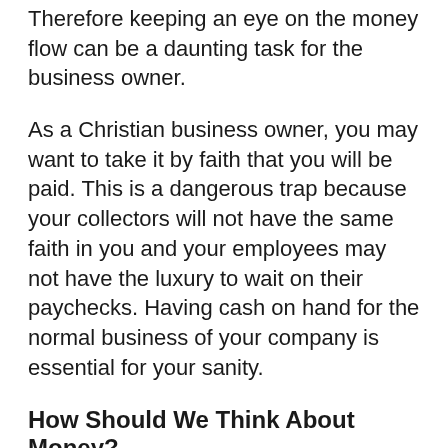Therefore keeping an eye on the money flow can be a daunting task for the business owner.
As a Christian business owner, you may want to take it by faith that you will be paid. This is a dangerous trap because your collectors will not have the same faith in you and your employees may not have the luxury to wait on their paychecks. Having cash on hand for the normal business of your company is essential for your sanity.
How Should We Think About Money?
With this in mind, what do you do when your insurance premiums double for no known reason? What do you do when you go to find that is